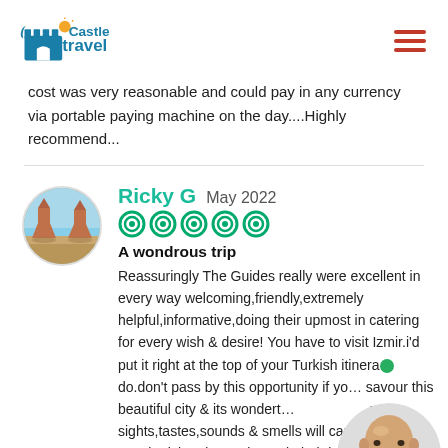Castle Travel – navigation header with logo and hamburger menu
cost was very reasonable and could pay in any currency via portable paying machine on the day....Highly recommend...
Ricky G  May 2022
★★★★★
A wondrous trip
Reassuringly The Guides really were excellent in every way welcoming,friendly,extremely helpful,informative,doing their upmost in catering for every wish & desire! You have to visit Izmir.i'd put it right at the top of your Turkish itinera… do.don't pass by this opportunity if yo… savour this beautiful city & its wondert… the sights,tastes,sounds & smells will captivate you.the iskender,CB,bursa,kebab,lunch,are…delicious &